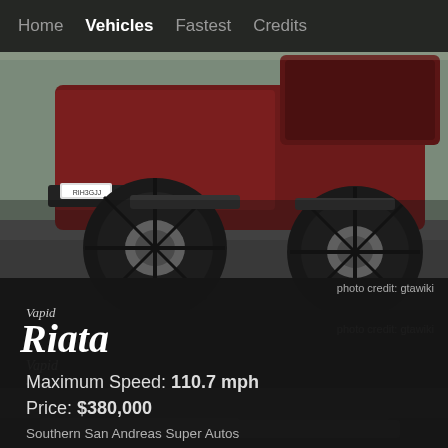Home  Vehicles  Fastest  Credits
[Figure (photo): Rear three-quarter view of a dark red Vapid Riata monster truck with large off-road tires on asphalt pavement]
photo credit: gtawiki
Vapid
Riata
Maximum Speed: 110.7 mph
Price: $380,000
Southern San Andreas Super Autos
The Doomsday Heist